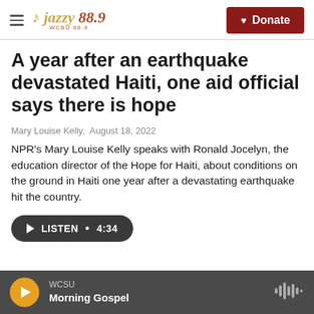Jazzy 88.9 WCSU — Donate
A year after an earthquake devastated Haiti, one aid official says there is hope
Mary Louise Kelly, August 18, 2022
NPR's Mary Louise Kelly speaks with Ronald Jocelyn, the education director of the Hope for Haiti, about conditions on the ground in Haiti one year after a devastating earthquake hit the country.
LISTEN • 4:34
WCSU Morning Gospel